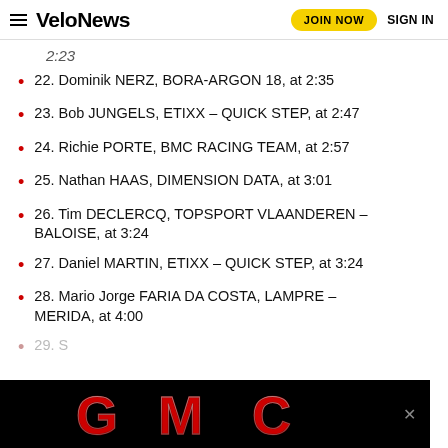VeloNews — JOIN NOW   SIGN IN
2:23
22. Dominik NERZ, BORA-ARGON 18, at 2:35
23. Bob JUNGELS, ETIXX – QUICK STEP, at 2:47
24. Richie PORTE, BMC RACING TEAM, at 2:57
25. Nathan HAAS, DIMENSION DATA, at 3:01
26. Tim DECLERCQ, TOPSPORT VLAANDEREN – BALOISE, at 3:24
27. Daniel MARTIN, ETIXX – QUICK STEP, at 3:24
28. Mario Jorge FARIA DA COSTA, LAMPRE – MERIDA, at 4:00
29. S…
[Figure (logo): GMC logo advertisement overlay on black background]